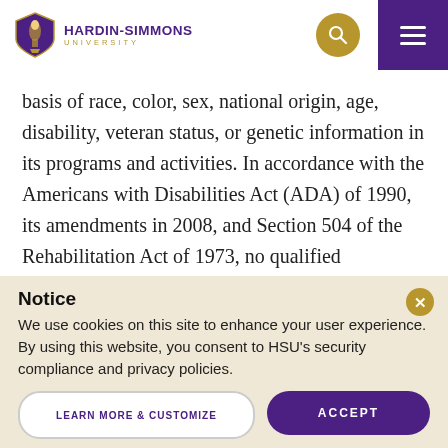HARDIN-SIMMONS UNIVERSITY
basis of race, color, sex, national origin, age, disability, veteran status, or genetic information in its programs and activities. In accordance with the Americans with Disabilities Act (ADA) of 1990, its amendments in 2008, and Section 504 of the Rehabilitation Act of 1973, no qualified person will be denied access to, participation in, or the benefits of, any program or activity operated by the university.
Notice
We use cookies on this site to enhance your user experience. By using this website, you consent to HSU's security compliance and privacy policies.
LEARN MORE & CUSTOMIZE
ACCEPT